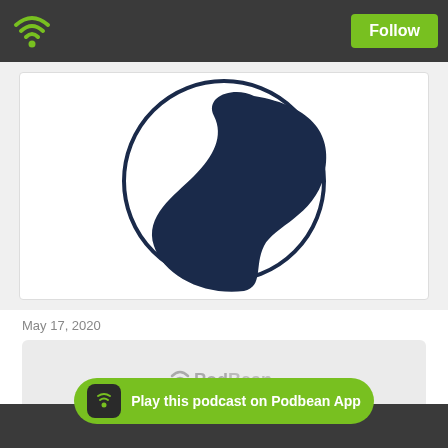Podbean app header with WiFi icon and Follow button
[Figure (illustration): Partial podcast artwork showing a dark navy blue S-curve or whale tail shape inside a circle on white background]
May 17, 2020
[Figure (screenshot): PodBean audio player widget with logo]
In this episode Erica Steele share a Mothers Day message from the book of Acts.
Play this podcast on Podbean App